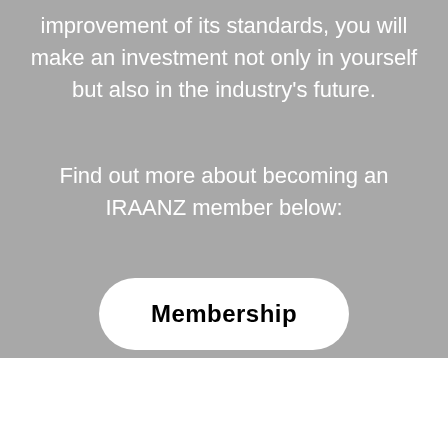improvement of its standards, you will make an investment not only in yourself but also in the industry's future.
Find out more about becoming an IRAANZ member below:
Membership